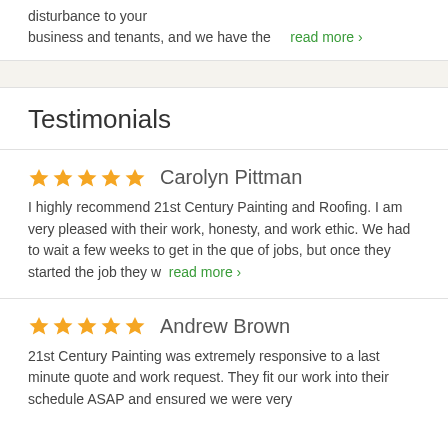disturbance to your business and tenants, and we have the … read more >
Testimonials
★★★★★ Carolyn Pittman
I highly recommend 21st Century Painting and Roofing. I am very pleased with their work, honesty, and work ethic. We had to wait a few weeks to get in the que of jobs, but once they started the job they w… read more >
★★★★★ Andrew Brown
21st Century Painting was extremely responsive to a last minute quote and work request. They fit our work into their schedule ASAP and ensured we were very…